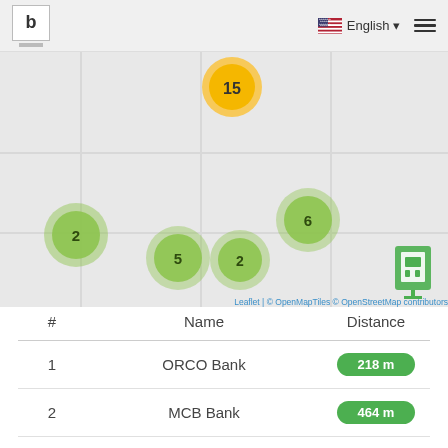b | English ☰
[Figure (map): Interactive map showing clustered location markers (green circles with numbers 2, 5, 6, 2 and a yellow circle with 15) and a bank/ATM icon on a light grey map background. Attribution: Leaflet | © OpenMapTiles © OpenStreetMap contributors]
Leaflet | © OpenMapTiles © OpenStreetMap contributors
| # | Name | Distance |
| --- | --- | --- |
| 1 | ORCO Bank | 218 m |
| 2 | MCB Bank | 464 m |